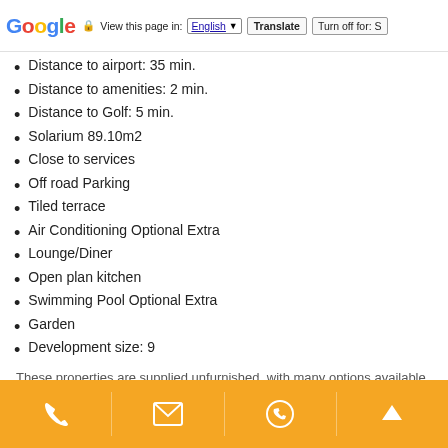Google — View this page in: English | Translate | Turn off for: S
Distance to airport: 35 min.
Distance to amenities: 2 min.
Distance to Golf: 5 min.
Solarium 89.10m2
Close to services
Off road Parking
Tiled terrace
Air Conditioning Optional Extra
Lounge/Diner
Open plan kitchen
Swimming Pool Optional Extra
Garden
Development size: 9
These properties are supplied unfurnished, with many options available to the buyer.
We can provide excellent after sales service, including
[phone] [email] [whatsapp] [scroll-up]